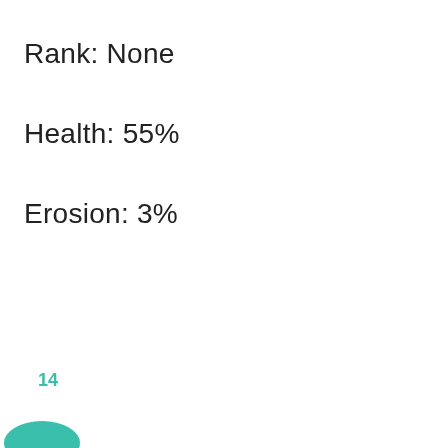Rank: None
Health: 55%
Erosion: 3%
[Figure (other): Partial view of a teal/green donut or pie chart segment with the number 14 above it, cropped at the bottom-left corner of the page.]